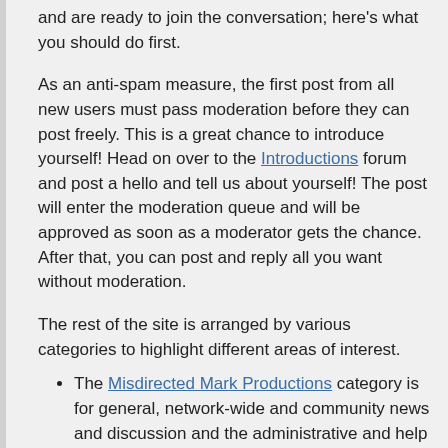and are ready to join the conversation; here's what you should do first.
As an anti-spam measure, the first post from all new users must pass moderation before they can post freely. This is a great chance to introduce yourself! Head on over to the Introductions forum and post a hello and tell us about yourself! The post will enter the moderation queue and will be approved as soon as a moderator gets the chance. After that, you can post and reply all you want without moderation.
The rest of the site is arranged by various categories to highlight different areas of interest.
The Misdirected Mark Productions category is for general, network-wide and community news and discussion and the administrative and help area for the whole Forums site.
The Network Podcasts and Streams category has a forum for each show on the network. Our helpful EpisodeBot posts links to new episodes in the appropriate forum, and you can discuss each episode or start a brand new topic relevant to that forum's show.